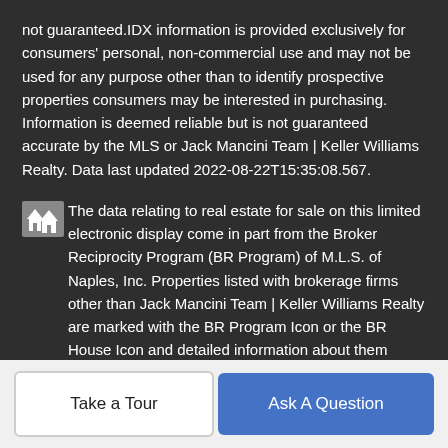not guaranteed.IDX information is provided exclusively for consumers' personal, non-commercial use and may not be used for any purpose other than to identify prospective properties consumers may be interested in purchasing. Information is deemed reliable but is not guaranteed accurate by the MLS or Jack Mancini Team | Keller Williams Realty. Data last updated 2022-08-22T15:35:08.567.
The data relating to real estate for sale on this limited electronic display come in part from the Broker Reciprocity Program (BR Program) of M.L.S. of Naples, Inc. Properties listed with brokerage firms other than Jack Mancini Team | Keller Williams Realty are marked with the BR Program Icon or the BR House Icon and detailed information about them includes the name of the Listing Brokers. The properties displayed may not be all the properties available through the BR Program. The accuracy of this information is not warranted or guaranteed. This information should be independently verified if any person intends to engage in
Take a Tour | Ask A Question